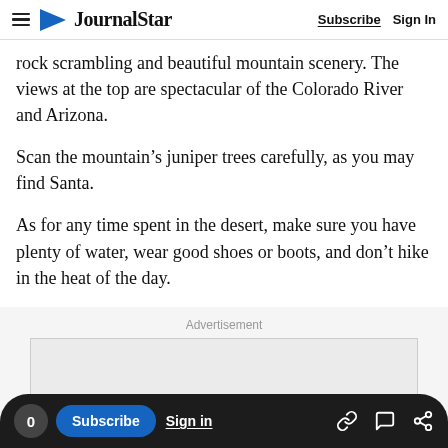Journal Star — Subscribe | Sign In
rock scrambling and beautiful mountain scenery. The views at the top are spectacular of the Colorado River and Arizona.
Scan the mountain's juniper trees carefully, as you may find Santa.
As for any time spent in the desert, make sure you have plenty of water, wear good shoes or boots, and don't hike in the heat of the day.
Advertisement
0  Subscribe  Sign in  [link] [comment] [share]